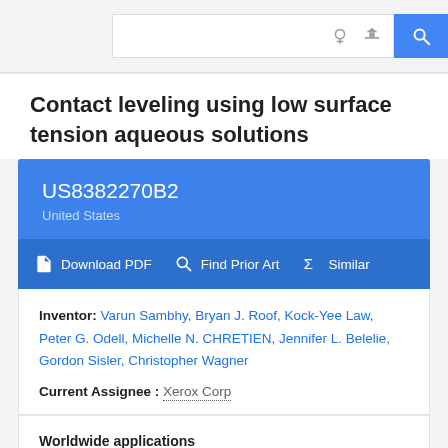[Figure (screenshot): Google Patents search bar UI with search icons and blue search button]
Contact leveling using low surface tension aqueous solutions
US8382270B2 United States
Download PDF  Find Prior Art  Similar
Inventor: Varun Sambhy, Bryan J. Roof, Kock-Yee Law, Peter G. Odell, Michelle N. CHRETIEN, Jennifer L. Belelie, Gordon Sisler, Christopher Wagner
Current Assignee : Xerox Corp
Worldwide applications